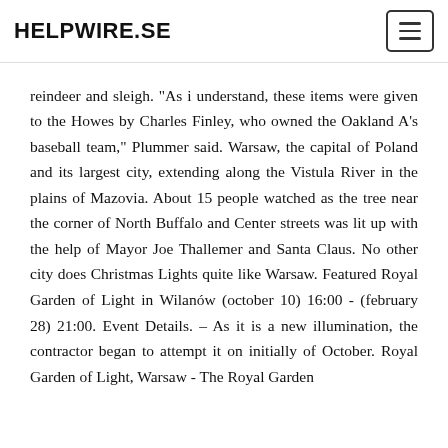HELPWIRE.SE
reindeer and sleigh. “As i understand, these items were given to the Howes by Charles Finley, who owned the Oakland A's baseball team,” Plummer said. Warsaw, the capital of Poland and its largest city, extending along the Vistula River in the plains of Mazovia. About 15 people watched as the tree near the corner of North Buffalo and Center streets was lit up with the help of Mayor Joe Thallemer and Santa Claus. No other city does Christmas Lights quite like Warsaw. Featured Royal Garden of Light in Wilánów (october 10) 16:00 - (february 28) 21:00. Event Details. – As it is a new illumination, the contractor began to attempt it on initially of October. Royal Garden of Light, Warsaw - The Royal Garden of light is a contemporary exhibition of...